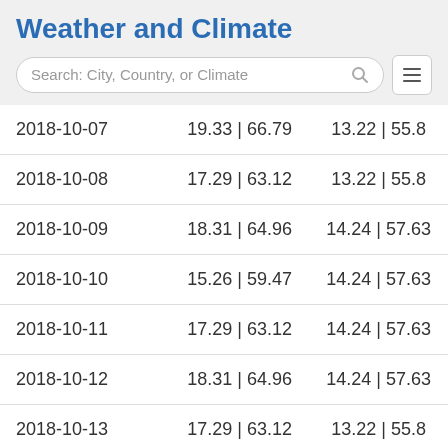Weather and Climate
| Date | Col2 | Col3 |
| --- | --- | --- |
| 2018-10-07 | 19.33 | 66.79 | 13.22 | 55.8 |
| 2018-10-08 | 17.29 | 63.12 | 13.22 | 55.8 |
| 2018-10-09 | 18.31 | 64.96 | 14.24 | 57.63 |
| 2018-10-10 | 15.26 | 59.47 | 14.24 | 57.63 |
| 2018-10-11 | 17.29 | 63.12 | 14.24 | 57.63 |
| 2018-10-12 | 18.31 | 64.96 | 14.24 | 57.63 |
| 2018-10-13 | 17.29 | 63.12 | 13.22 | 55.8 |